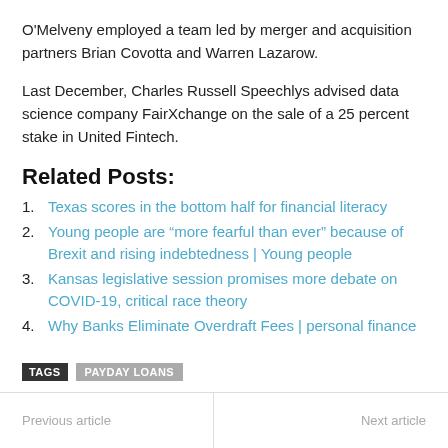O'Melveny employed a team led by merger and acquisition partners Brian Covotta and Warren Lazarow.
Last December, Charles Russell Speechlys advised data science company FairXchange on the sale of a 25 percent stake in United Fintech.
Related Posts:
Texas scores in the bottom half for financial literacy
Young people are “more fearful than ever” because of Brexit and rising indebtedness | Young people
Kansas legislative session promises more debate on COVID-19, critical race theory
Why Banks Eliminate Overdraft Fees | personal finance
TAGS  PAYDAY LOANS
Previous article   Next article